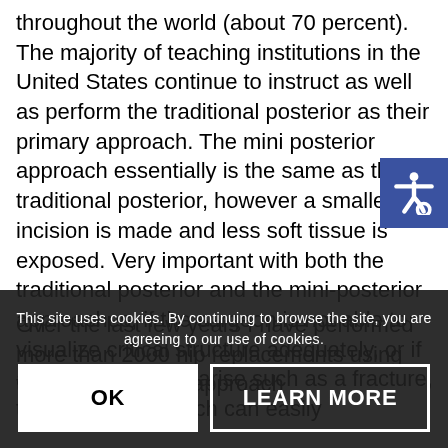throughout the world (about 70 percent). The majority of teaching institutions in the United States continue to instruct as well as perform the traditional posterior as their primary approach. The mini posterior approach essentially is the same as the traditional posterior, however a smaller incision is made and less soft tissue is exposed. Very important with both the traditional posterior and the mini-posterior approaches, if the surgeon is not able to visualize critical structure adequately, or if a problem were to arise such as a fracture, then either approach can easily
Over the last few years I have performed more than 2000 hip replacements using the mini-posterior approach
This site uses cookies. By continuing to browse the site, you are agreeing to our use of cookies.